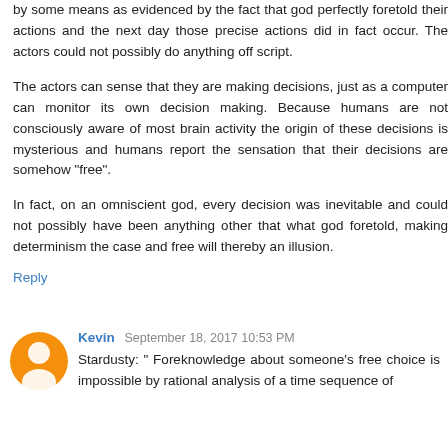by some means as evidenced by the fact that god perfectly foretold their actions and the next day those precise actions did in fact occur. The actors could not possibly do anything off script.
The actors can sense that they are making decisions, just as a computer can monitor its own decision making. Because humans are not consciously aware of most brain activity the origin of these decisions is mysterious and humans report the sensation that their decisions are somehow "free".
In fact, on an omniscient god, every decision was inevitable and could not possibly have been anything other that what god foretold, making determinism the case and free will thereby an illusion.
Reply
Kevin September 18, 2017 10:53 PM
Stardusty: " Foreknowledge about someone's free choice is impossible by rational analysis of a time sequence of